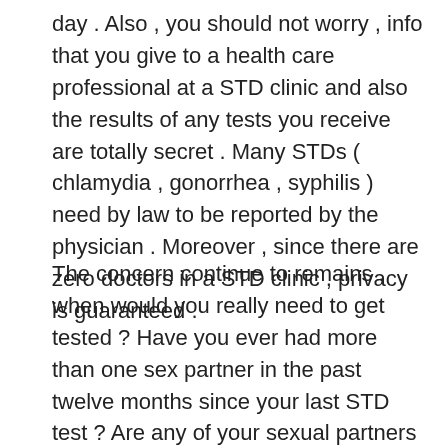day . Also , you should not worry , info that you give to a health care professional at a STD clinic and also the results of any tests you receive are totally secret . Many STDs ( chlamydia , gonorrhea , syphilis ) need by law to be reported by the physician . Moreover , since there are zero doctors in a STD clinic , privacy is guaranteed .
The concern continue to remains , when would you really need to get tested ? Have you ever had more than one sex partner in the past twelve months since your last STD test ? Are any of your sexual partners high risk for STDs ? Do you think you may have symptoms of the STD ? If so , then it is probably recommended that you get tested for STDs